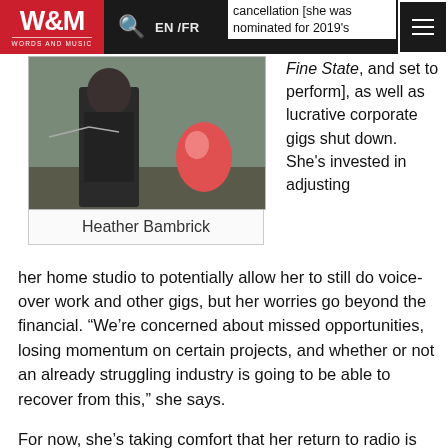W&M WORDS AND MUSIC | EN /FR
cancellation [she was nominated for 2019's Fine State, and set to perform], as well as lucrative corporate gigs shut down. She's invested in adjusting her home studio to potentially allow her to still do voice-over work and other gigs, but her worries go beyond the financial. “We’re concerned about missed opportunities, losing momentum on certain projects, and whether or not an already struggling industry is going to be able to recover from this,” she says.
[Figure (photo): Photo of Heather Bambrick outdoors on a dock]
Heather Bambrick
For now, she’s taking comfort that her return to radio is bringing audiences all over the world together. “Financially, it doesn’t add up to much, but it’s something, and I feel very blessed to be able to bring music, and hopefully some sense of normalcy, to listeners’ lives right now,” says Bambrick.